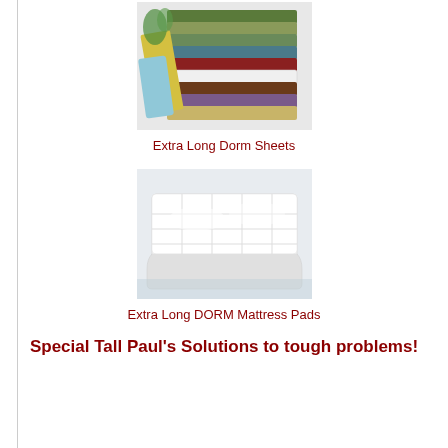[Figure (photo): Stack of colorful folded bed sheets in various colors including yellow, green, blue, red, brown, purple, and white]
Extra Long Dorm Sheets
[Figure (photo): White quilted mattress pad shown on a bed corner, featuring a tufted/quilted pattern]
Extra Long DORM Mattress Pads
Special Tall Paul's Solutions to tough problems!